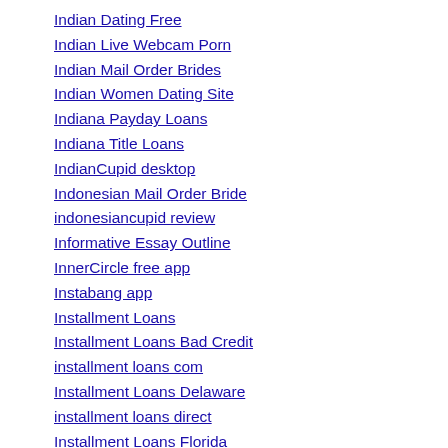Indian Dating Free
Indian Live Webcam Porn
Indian Mail Order Brides
Indian Women Dating Site
Indiana Payday Loans
Indiana Title Loans
IndianCupid desktop
Indonesian Mail Order Bride
indonesiancupid review
Informative Essay Outline
InnerCircle free app
Instabang app
Installment Loans
Installment Loans Bad Credit
installment loans com
Installment Loans Delaware
installment loans direct
Installment Loans Florida
installment loans from direct lenders